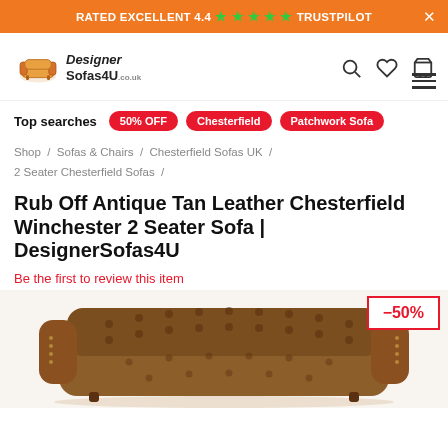RATED EXCELLENT 4.4 ★ ★ ★ ★ ★ TRUSTPILOT
[Figure (logo): Designer Sofas 4U logo with sofa icon]
Top searches   50% OFF   Chesterfield   Patchwork Sofa
Shop / Sofas & Chairs / Chesterfield Sofas UK / 2 Seater Chesterfield Sofas /
Rub Off Antique Tan Leather Chesterfield Winchester 2 Seater Sofa | DesignerSofas4U
Be the first to review this item
[Figure (photo): Antique tan leather Chesterfield Winchester 2 seater sofa with tufted back and scrolled arms, with -50% discount badge]